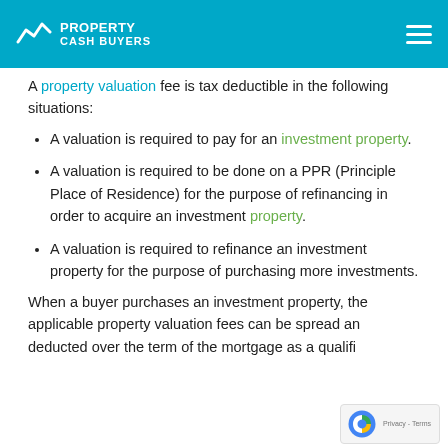PROPERTY CASH BUYERS
A property valuation fee is tax deductible in the following situations:
A valuation is required to pay for an investment property.
A valuation is required to be done on a PPR (Principle Place of Residence) for the purpose of refinancing in order to acquire an investment property.
A valuation is required to refinance an investment property for the purpose of purchasing more investments.
When a buyer purchases an investment property, the applicable property valuation fees can be spread and deducted over the term of the mortgage as a qualifi...